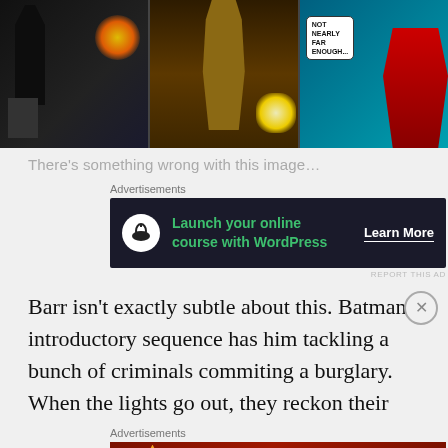[Figure (illustration): Comic book panel collage: three side-by-side panels. Left panel shows dark figure (Batman-like) with lightning/sparks. Middle panel shows brown-coated figure (gunslinger) firing weapon with muzzle flash. Right panel shows colorful superhero scene with speech bubble reading 'NOT NEARLY FAR ENOUGH...']
There's something wrong with this image…
Advertisements
[Figure (other): Advertisement banner: dark background with tree/bonsai icon circle, green text 'Launch your online course with WordPress', white 'Learn More' button with underline]
REPORT THIS AD
Barr isn't exactly subtle about this. Batman's introductory sequence has him tackling a bunch of criminals commiting a burglary. When the lights go out, they reckon their
Advertisements
[Figure (other): Advertisement banner: Seamless pizza delivery ad with pizza slice image on dark red background, red 'seamless' label, and 'ORDER NOW' button with border]